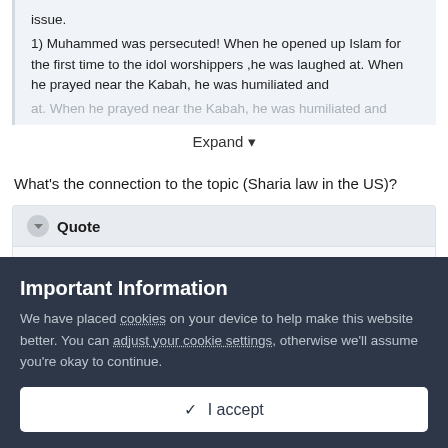issue.
1) Muhammed was persecuted! When he opened up Islam for the first time to the idol worshippers ,he was laughed at. When he prayed near the Kabah, he was humiliated and
Expand
What's the connection to the topic (Sharia law in the US)?
Quote
The reason why everyone is scared of a 'takeover' by 'Islamist tyranists' is because the governments are slowly
Important Information
We have placed cookies on your device to help make this website better. You can adjust your cookie settings, otherwise we'll assume you're okay to continue.
✓ I accept